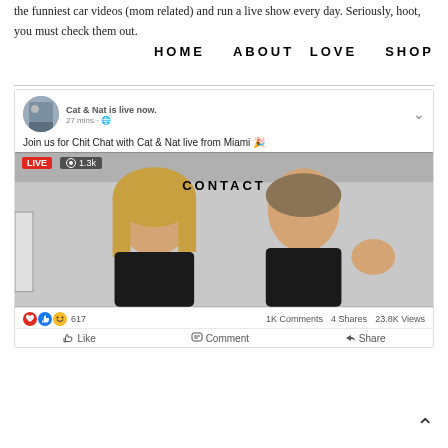the funniest car videos (mom related) and run a live show every day. Seriously, hoot, you must check them out.
[Figure (screenshot): Facebook Live post from Cat & Nat showing two women in black tops in a live video from Miami. Post shows LIVE badge, 1.3k viewers, 617 reactions, 1K Comments, 4 Shares, 23.8K Views, with Like, Comment, Share buttons.]
HOME  ABOUT  LOVE  SHOP  CONTACT